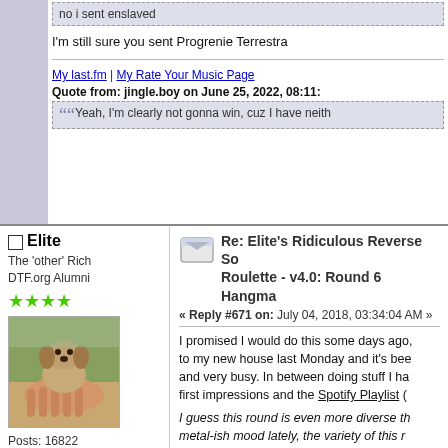no i sent enslaved
I'm still sure you sent Progrenie Terrestra
My last.fm | My Rate Your Music Page
Quote from: jingle.boy on June 25, 2022, 08:11:
Yeah, I'm clearly not gonna win, cuz I have neith
Elite
The 'other' Rich
DTF.org Alumni
[Figure (photo): Avatar image of a small puppy or dog being held in someone's hand outdoors]
Posts: 16822
Gender: male
also, a tin teardrop
Re: Elite's Ridiculous Reverse So Roulette - v4.0: Round 6 Hangma
« Reply #671 on: July 04, 2018, 03:34:04 AM »
I promised I would do this some days ago, to my new house last Monday and it's bee and very busy. In between doing stuff I ha first impressions and the Spotify Playlist (
I guess this round is even more diverse th metal-ish mood lately, the variety of this r grasp of most of the songs, but I can't pro days).